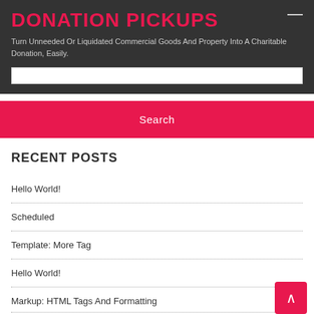DONATION PICKUPS
Turn Unneeded Or Liquidated Commercial Goods And Property Into A Charitable Donation, Easily.
Search
RECENT POSTS
Hello World!
Scheduled
Template: More Tag
Hello World!
Markup: HTML Tags And Formatting